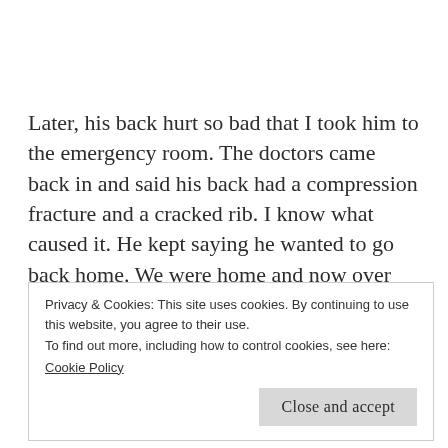Later, his back hurt so bad that I took him to the emergency room. The doctors came back in and said his back had a compression fracture and a cracked rib. I know what caused it. He kept saying he wanted to go back home. We were home and now over 500 miles away from the estate.  Apparantly, this home was not the one he intended.
Privacy & Cookies: This site uses cookies. By continuing to use this website, you agree to their use.
To find out more, including how to control cookies, see here:
Cookie Policy
Close and accept